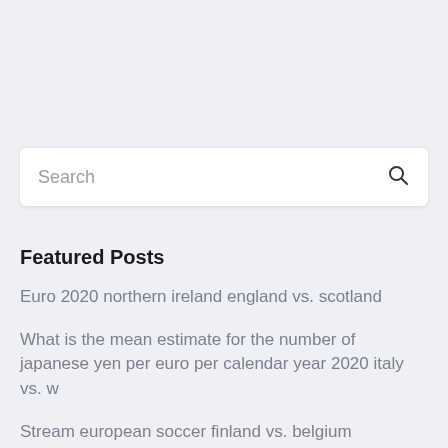[Figure (screenshot): Search bar with placeholder text 'Search' and a magnifying glass icon on the right]
Featured Posts
Euro 2020 northern ireland england vs. scotland
What is the mean estimate for the number of japanese yen per euro per calendar year 2020 italy vs. w
Stream european soccer finland vs. belgium
Where is the euro 2020 located hungary vs. portugal